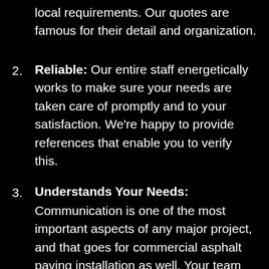local requirements. Our quotes are famous for their detail and organization.
2. Reliable: Our entire staff energetically works to make sure your needs are taken care of promptly and to your satisfaction. We're happy to provide references that enable you to verify this.
3. Understands Your Needs: Communication is one of the most important aspects of any major project, and that goes for commercial asphalt paving installation as well. Your team here at Espina Paving listens carefully and asks